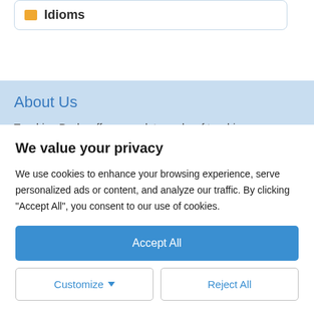Idioms
About Us
Teaching Packs offers complete packs of teaching resources, linked to the topics that you teach
We value your privacy
We use cookies to enhance your browsing experience, serve personalized ads or content, and analyze our traffic. By clicking "Accept All", you consent to our use of cookies.
Accept All
Customize
Reject All